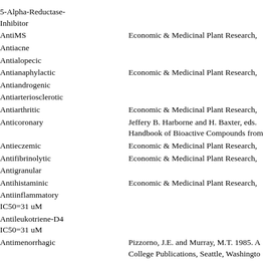| Activity | Reference |
| --- | --- |
| 5-Alpha-Reductase-Inhibitor |  |
| AntiMS | Economic & Medicinal Plant Research, |
| Antiacne |  |
| Antialopecic |  |
| Antianaphylactic | Economic & Medicinal Plant Research, |
| Antiandrogenic |  |
| Antiarteriosclerotic |  |
| Antiarthritic | Economic & Medicinal Plant Research, |
| Anticoronary | Jeffery B. Harborne and H. Baxter, eds. Handbook of Bioactive Compounds from |
| Antieczemic | Economic & Medicinal Plant Research, |
| Antifibrinolytic | Economic & Medicinal Plant Research, |
| Antigranular |  |
| Antihistaminic | Economic & Medicinal Plant Research, |
| Antiinflammatory IC50=31 uM |  |
| Antileukotriene-D4 IC50=31 uM |  |
| Antimenorrhagic | Pizzorno, J.E. and Murray, M.T. 1985. A College Publications, Seattle, Washington Pizzorno, J.E. and Murray, M.T. 1985. A |